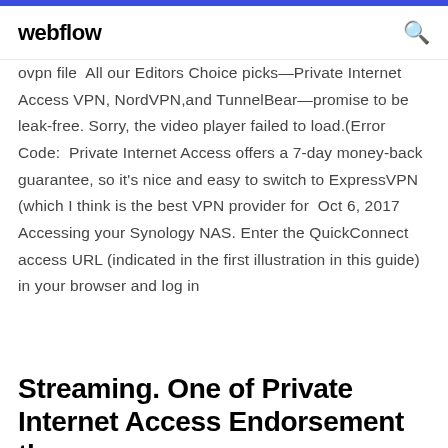webflow
ovpn file  All our Editors Choice picks—Private Internet Access VPN, NordVPN,and TunnelBear—promise to be leak-free. Sorry, the video player failed to load.(Error Code:  Private Internet Access offers a 7-day money-back guarantee, so it's nice and easy to switch to ExpressVPN (which I think is the best VPN provider for  Oct 6, 2017 Accessing your Synology NAS. Enter the QuickConnect access URL (indicated in the first illustration in this guide) in your browser and log in
Streaming. One of Private Internet Access Endorsement the